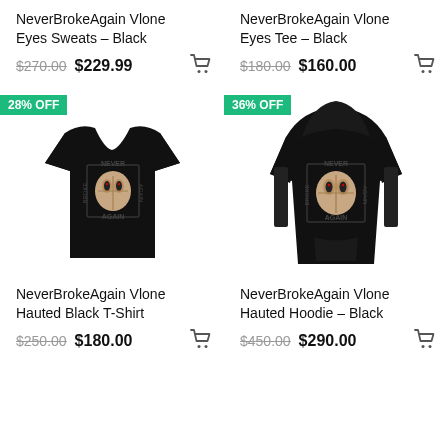NeverBrokeAgain Vlone Eyes Sweats – Black
$270.00 $229.99
NeverBrokeAgain Vlone Eyes Tee – Black
$180.00 $160.00
[Figure (photo): Black NeverBrokeAgain Vlone Hauted Black T-Shirt with Jason mask graphic, 28% OFF badge]
[Figure (photo): Black NeverBrokeAgain Vlone Hauted Hoodie with Jason mask graphic, 36% OFF badge]
NeverBrokeAgain Vlone Hauted Black T-Shirt
$250.00 $180.00
NeverBrokeAgain Vlone Hauted Hoodie – Black
$450.00 $290.00